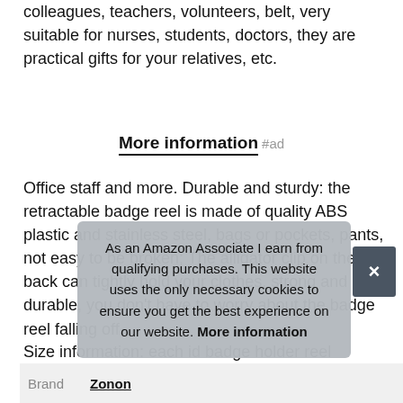colleagues, teachers, volunteers, belt, very suitable for nurses, students, doctors, they are practical gifts for your relatives, etc.
More information #ad
Office staff and more. Durable and sturdy: the retractable badge reel is made of quality ABS plastic and stainless steel, bags or pockets, pants, not easy to be broken; The alligator clip on the back can tightly hold your clothes, strong and durable, you don't have to worry about the badge reel falling off.
Size information: each id badge holder reel measures about 1 26 i retractable...
As an Amazon Associate I earn from qualifying purchases. This website uses the only necessary cookies to ensure you get the best experience on our website. More information
| Brand |  |
| --- | --- |
| Brand | Zonon |